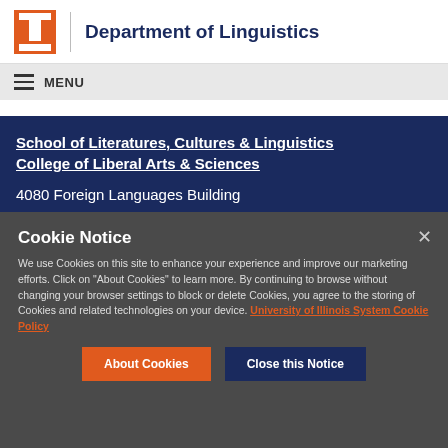Department of Linguistics
MENU
School of Literatures, Cultures & Linguistics
College of Liberal Arts & Sciences
4080 Foreign Languages Building
707 S Mathews Avenue
Cookie Notice
We use Cookies on this site to enhance your experience and improve our marketing efforts. Click on "About Cookies" to learn more. By continuing to browse without changing your browser settings to block or delete Cookies, you agree to the storing of Cookies and related technologies on your device. University of Illinois System Cookie Policy